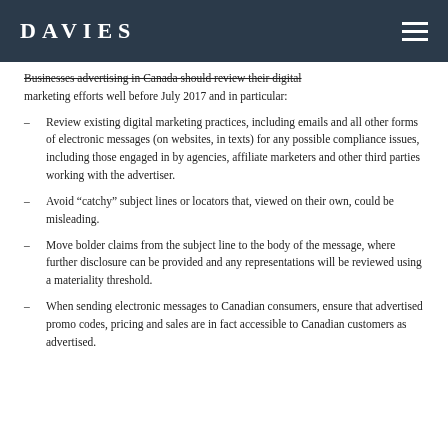DAVIES
Businesses advertising in Canada should review their digital marketing efforts well before July 2017 and in particular:
Review existing digital marketing practices, including emails and all other forms of electronic messages (on websites, in texts) for any possible compliance issues, including those engaged in by agencies, affiliate marketers and other third parties working with the advertiser.
Avoid “catchy” subject lines or locators that, viewed on their own, could be misleading.
Move bolder claims from the subject line to the body of the message, where further disclosure can be provided and any representations will be reviewed using a materiality threshold.
When sending electronic messages to Canadian consumers, ensure that advertised promo codes, pricing and sales are in fact accessible to Canadian customers as advertised.